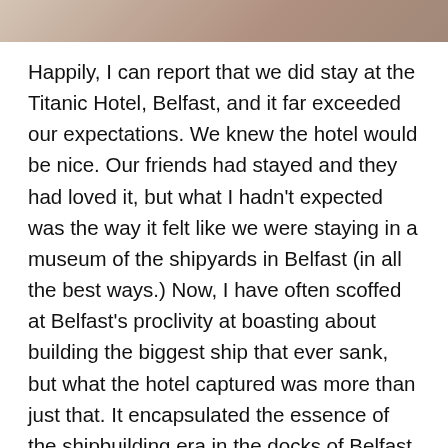[Figure (photo): Partial photograph at the top of the page, showing what appears to be a building or interior scene with warm tones.]
Happily, I can report that we did stay at the Titanic Hotel, Belfast, and it far exceeded our expectations. We knew the hotel would be nice. Our friends had stayed and they had loved it, but what I hadn't expected was the way it felt like we were staying in a museum of the shipyards in Belfast (in all the best ways.) Now, I have often scoffed at Belfast's proclivity at boasting about building the biggest ship that ever sank, but what the hotel captured was more than just that. It encapsulated the essence of the shipbuilding era in the docks of Belfast. Perhaps not a profession that my ancestors could avail of due to the sectarian divisions of the time, but still an element in the foundation of all of our shared